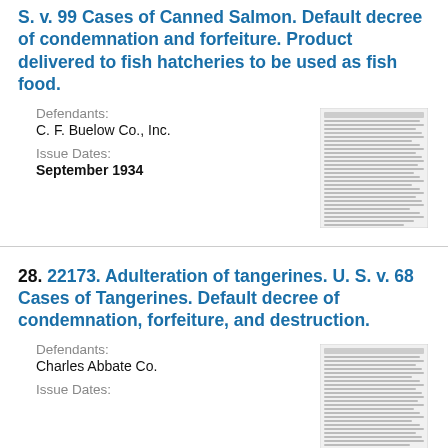S. v. 99 Cases of Canned Salmon. Default decree of condemnation and forfeiture. Product delivered to fish hatcheries to be used as fish food.
Defendants:
C. F. Buelow Co., Inc.
Issue Dates:
September 1934
[Figure (photo): Thumbnail image of a document page, scanned text document]
28. 22173. Adulteration of tangerines. U. S. v. 68 Cases of Tangerines. Default decree of condemnation, forfeiture, and destruction.
Defendants:
Charles Abbate Co.
Issue Dates:
[Figure (photo): Thumbnail image of a document page, scanned text document]